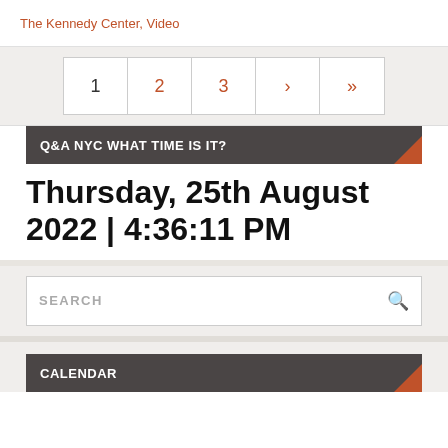The Kennedy Center, Video
1   2   3   ›   »
Q&A NYC WHAT TIME IS IT?
Thursday, 25th August 2022 | 4:36:11 PM
SEARCH
CALENDAR